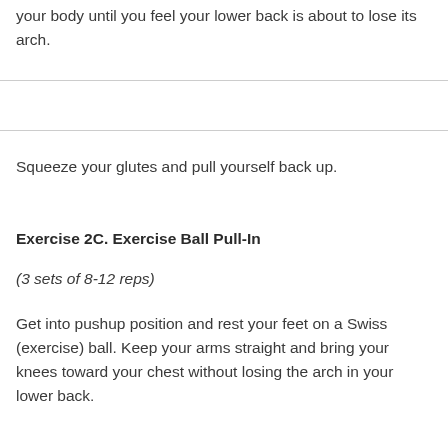your body until you feel your lower back is about to lose its arch.
Squeeze your glutes and pull yourself back up.
Exercise 2C. Exercise Ball Pull-In
(3 sets of 8-12 reps)
Get into pushup position and rest your feet on a Swiss (exercise) ball. Keep your arms straight and bring your knees toward your chest without losing the arch in your lower back.